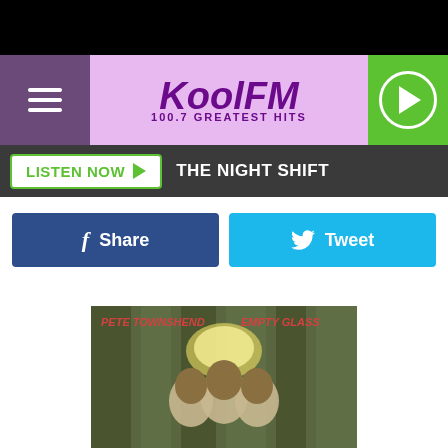[Figure (screenshot): KOOL FM 100.7 Greatest Hits radio station website header with purple menu bar, pink/lavender logo area, and green play button]
LISTEN NOW  THE NIGHT SHIFT
Share
Tweet
[Figure (photo): Album cover for Pete Townshend - Empty Glass, showing illustrated figures with a halo]